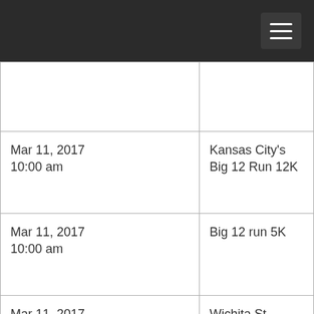| Date/Time | Event |
| --- | --- |
|  |  |
| Mar 11, 2017
10:00 am | Kansas City's Big 12 Run 12K |
| Mar 11, 2017
10:00 am | Big 12 run 5K |
| Mar 11, 2017
8:00 am | Wichita St. Patricks 5K Run/Walk |
| Mar 11, 2017
8:00 am | Head For The Cure 5k |